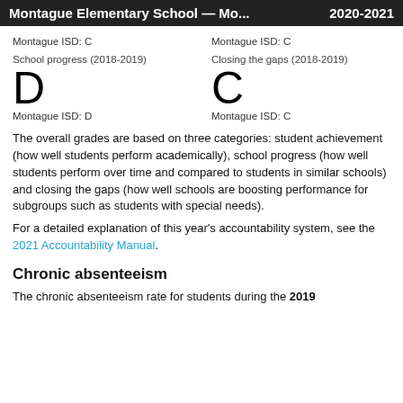Montague Elementary School — Mo... 2020-2021
Montague ISD: C
Montague ISD: C
School progress (2018-2019)
D
Montague ISD: D
Closing the gaps (2018-2019)
C
Montague ISD: C
The overall grades are based on three categories: student achievement (how well students perform academically), school progress (how well students perform over time and compared to students in similar schools) and closing the gaps (how well schools are boosting performance for subgroups such as students with special needs).
For a detailed explanation of this year's accountability system, see the 2021 Accountability Manual.
Chronic absenteeism
The chronic absenteeism rate for students during the 2019